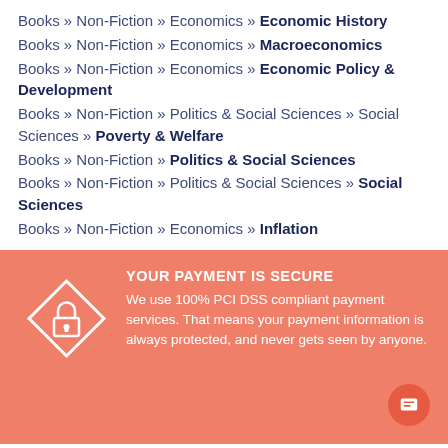Books » Non-Fiction » Economics » Economic History
Books » Non-Fiction » Economics » Macroeconomics
Books » Non-Fiction » Economics » Economic Policy & Development
Books » Non-Fiction » Politics & Social Sciences » Social Sciences » Poverty & Welfare
Books » Non-Fiction » Politics & Social Sciences
Books » Non-Fiction » Politics & Social Sciences » Social Sciences
Books » Non-Fiction » Economics » Inflation
[Figure (infographic): Orange/salmon background section with a white lock diamond icon on the left and payment security text on the right, plus a circular chat button in the bottom right corner.]
YOUR PAYMENT IS SECURE
We use 100% PCI DSS compliant payment services. That means your payment information is always protected, and never gets seen by anyone.